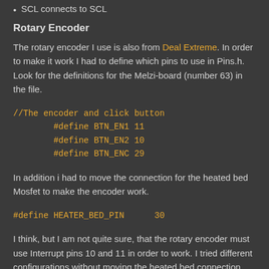SCL connects to SCL
Rotary Encoder
The rotary encoder I use is also from Deal Extreme. In order to make it work I had to define which pins to use in Pins.h. Look for the definitions for the Melzi-board (number 63) in the file.
In addition i had to move the connection for the heated bed Mosfet to make the encoder work.
I think, but I am not quite sure, that the rotary encoder must use Interrupt pins 10 and 11 in order to work. I tried different configurations without moving the heated bed connection